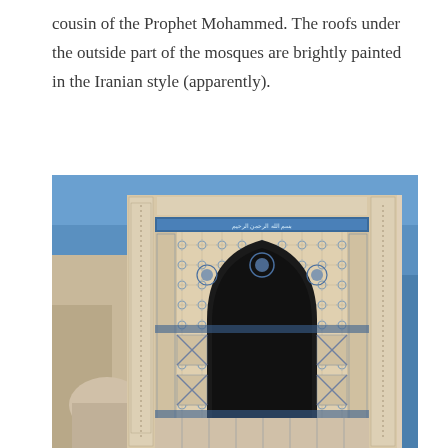cousin of the Prophet Mohammed. The roofs under the outside part of the mosques are brightly painted in the Iranian style (apparently).
[Figure (photo): Photograph of an ornate Islamic architectural portal (iwan) decorated with intricate tilework featuring Arabic calligraphy borders, geometric and floral mosaic patterns in blue, white, and beige tones, with a pointed arch entrance and clear blue sky in the background. A small dome is visible in the lower left corner.]